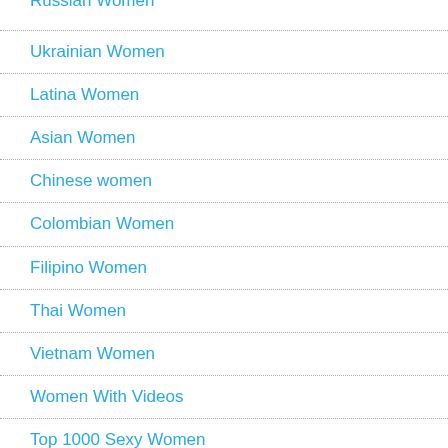Russian Women
Ukrainian Women
Latina Women
Asian Women
Chinese women
Colombian Women
Filipino Women
Thai Women
Vietnam Women
Women With Videos
Top 1000 Sexy Women